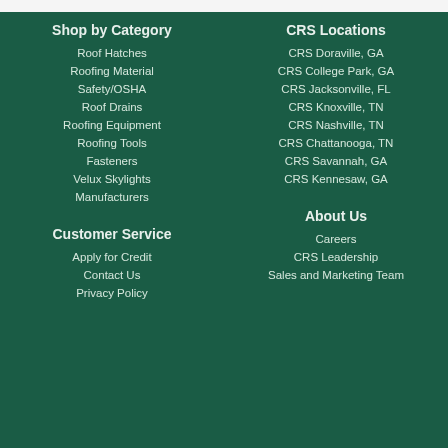Shop by Category
Roof Hatches
Roofing Material
Safety/OSHA
Roof Drains
Roofing Equipment
Roofing Tools
Fasteners
Velux Skylights
Manufacturers
CRS Locations
CRS Doraville, GA
CRS College Park, GA
CRS Jacksonville, FL
CRS Knoxville, TN
CRS Nashville, TN
CRS Chattanooga, TN
CRS Savannah, GA
CRS Kennesaw, GA
Customer Service
Apply for Credit
Contact Us
Privacy Policy
About Us
Careers
CRS Leadership
Sales and Marketing Team